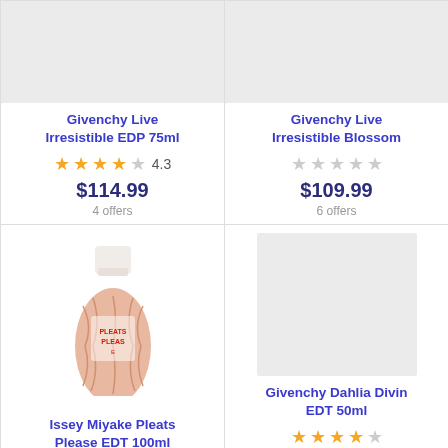[Figure (photo): Product image placeholder (light gray box) for Givenchy Live Irresistible EDP 75ml]
Givenchy Live Irresistible EDP 75ml
★★★★☆ 4.3
$114.99
4 offers
[Figure (photo): Product image placeholder (light gray box) for Givenchy Live Irresistible Blossom]
Givenchy Live Irresistible Blossom
★★★★★ (no rating)
$109.99
6 offers
[Figure (photo): Issey Miyake Pleats Please perfume bottle - pink/coral floral bottle with white cap]
Issey Miyake Pleats Please EDT 100ml
★★★★☆ (partially visible)
[Figure (photo): Product image placeholder (light gray box) for Givenchy Dahlia Divin EDT 50ml]
Givenchy Dahlia Divin EDT 50ml
★★★★☆ (partially visible)